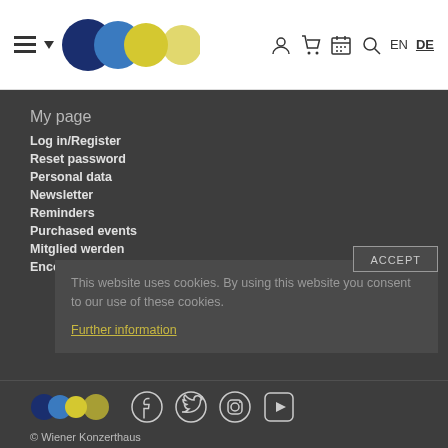Navigation header with logo circles and icons for account, cart, calendar, search, EN, DE
My page
Log in/Register
Reset password
Personal data
Newsletter
Reminders
Purchased events
Mitglied werden
Encore Notification Service
This website uses cookies. By using this website you consent to our use of these cookies.
Further information
© Wiener Konzerthaus — social media icons: Facebook, Twitter, Instagram, YouTube